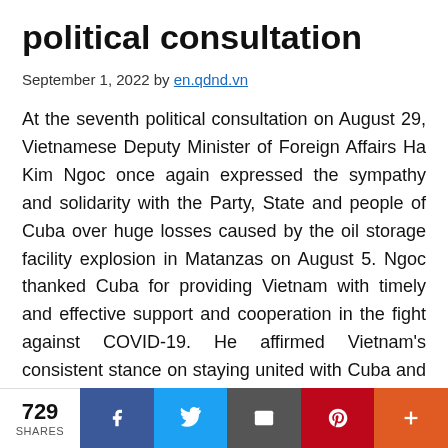political consultation
September 1, 2022 by en.qdnd.vn
At the seventh political consultation on August 29, Vietnamese Deputy Minister of Foreign Affairs Ha Kim Ngoc once again expressed the sympathy and solidarity with the Party, State and people of Cuba over huge losses caused by the oil storage facility explosion in Matanzas on August 5. Ngoc thanked Cuba for providing Vietnam with timely and effective support and cooperation in the fight against COVID-19. He affirmed Vietnam's consistent stance on staying united with Cuba and calling for
729 SHARES | Facebook | Twitter | Email | Pinterest | More